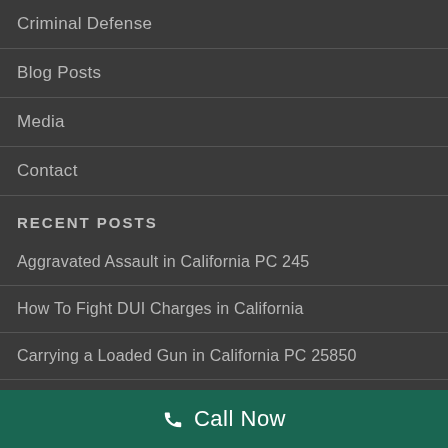Criminal Defense
Blog Posts
Media
Contact
RECENT POSTS
Aggravated Assault in California PC 245
How To Fight DUI Charges in California
Carrying a Loaded Gun in California PC 25850
Call Now